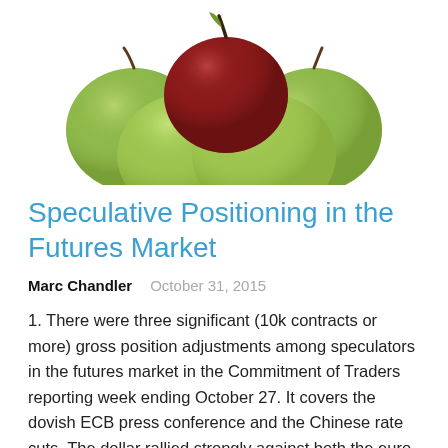[Figure (photo): A cluster of green apples with one red apple on top, centered against a white background.]
Speculative Positioning in the Futures Market
Marc Chandler   October 31, 2015
1. There were three significant (10k contracts or more) gross position adjustments among speculators in the futures market in the Commitment of Traders reporting week ending October 27. It covers the dovish ECB press conference and the Chinese rate cuts. The dollar rallied strongly against both the euro and yen. The bears piled into the short ...